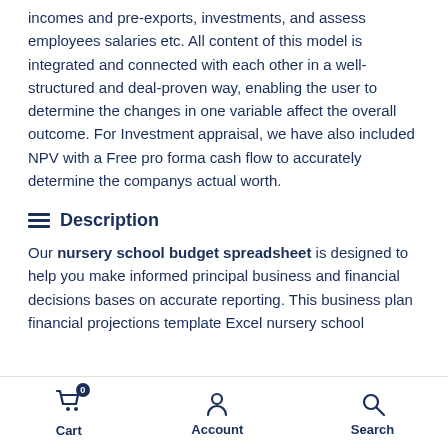incomes and pre-exports, investments, and assess employees salaries etc. All content of this model is integrated and connected with each other in a well-structured and deal-proven way, enabling the user to determine the changes in one variable affect the overall outcome. For Investment appraisal, we have also included NPV with a Free pro forma cash flow to accurately determine the companys actual worth.
Description
Our nursery school budget spreadsheet is designed to help you make informed principal business and financial decisions bases on accurate reporting. This business plan financial projections template Excel nursery school
Cart  Account  Search